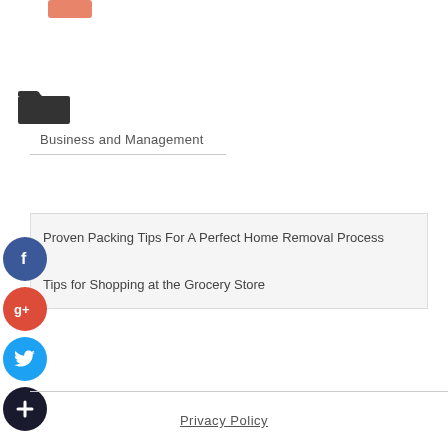[Figure (logo): Salmon/pink colored rectangular icon at top]
[Figure (illustration): Open folder icon in dark gray/black]
Business and Management
Proven Packing Tips For A Perfect Home Removal Process
Tips for Shopping at the Grocery Store
[Figure (logo): Facebook social share button - blue circle with f]
[Figure (logo): Google+ social share button - red circle with g+]
[Figure (logo): Twitter social share button - blue circle with bird]
[Figure (logo): Add/plus social share button - dark circle with plus]
Privacy Policy